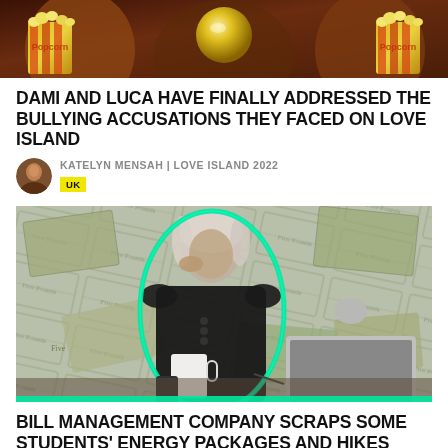[Figure (photo): Top portion of image showing people with popcorn buckets at what appears to be a cinema or entertainment event. Warm orange/gold tones.]
DAMI AND LUCA HAVE FINALLY ADDRESSED THE BULLYING ACCUSATIONS THEY FACED ON LOVE ISLAND
KATELYN MENSAH | LOVE ISLAND 2022
UK
[Figure (photo): Black and white photo of a young woman sitting at a desk looking bored or stressed, with a laptop open in front of her and a coffee cup nearby. Background shows scattered currency notes. A teal/green neon outline frames the woman.]
BILL MANAGEMENT COMPANY SCRAPS SOME STUDENTS' ENERGY PACKAGES AND HIKES